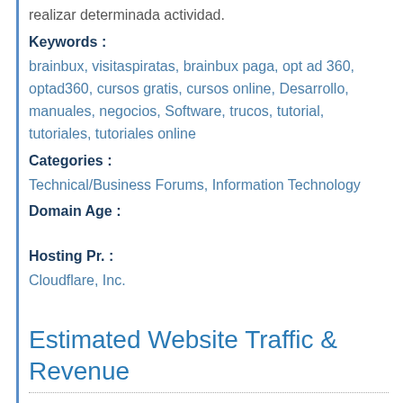realizar determinada actividad.
Keywords :
brainbux, visitaspiratas, brainbux paga, opt ad 360, optad360, cursos gratis, cursos online, Desarrollo, manuales, negocios, Software, trucos, tutorial, tutoriales, tutoriales online
Categories :
Technical/Business Forums, Information Technology
Domain Age :
Hosting Pr. :
Cloudflare, Inc.
Estimated Website Traffic & Revenue
Daily Unique Visitors: 800